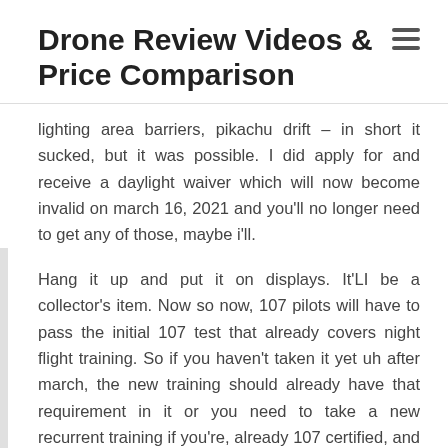Drone Review Videos & Price Comparison
lighting area barriers, pikachu drift – in short it sucked, but it was possible. I did apply for and receive a daylight waiver which will now become invalid on march 16, 2021 and you'll no longer need to get any of those, maybe i'll.
Hang it up and put it on displays. It'LI be a collector's item. Now so now, 107 pilots will have to pass the initial 107 test that already covers night flight training. So if you haven't taken it yet uh after march, the new training should already have that requirement in it or you need to take a new recurrent training if you're, already 107 certified, and that will include the flight at night stuff. So this will all be available